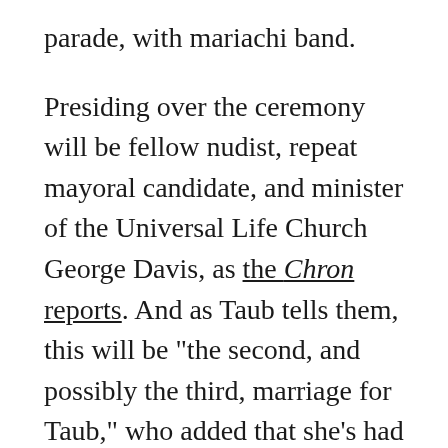parade, with mariachi band.
Presiding over the ceremony will be fellow nudist, repeat mayoral candidate, and minister of the Universal Life Church George Davis, as the Chron reports. And as Taub tells them, this will be "the second, and possibly the third, marriage for Taub," who added that she's had "a very exciting life with a lot of passion and a lot of drama" so far. Thursday will officially mark the beginning of a new chapter with Smith, who's 20 years old to her 44. He's been living with her and her family, including three children, in a Victorian flat in Berkeley since he and Taub met in August at